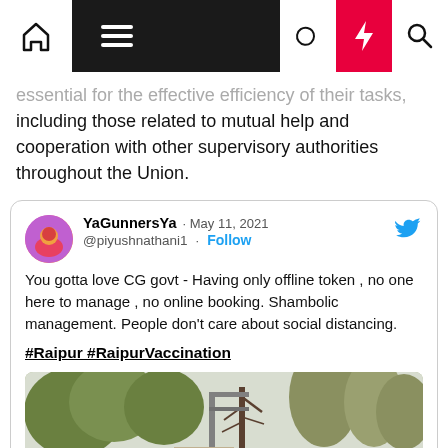Navigation bar with home, menu, dark mode, flash, and search icons
essential for the effective efficiency of their tasks, including those related to mutual help and cooperation with other supervisory authorities throughout the Union.
[Figure (screenshot): Embedded tweet by @YaGunnersYa (YaGunnersYa), May 11, 2021. Text: 'You gotta love CG govt - Having only offline token , no one here to manage , no online booking. Shambolic management. People don't care about social distancing. #Raipur #RaipurVaccination'. Includes a photo of trees and a street scene.]